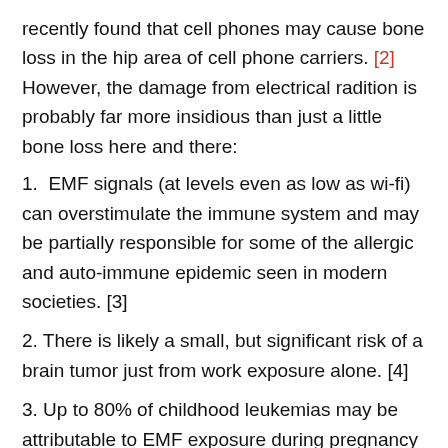recently found that cell phones may cause bone loss in the hip area of cell phone carriers. [2]  However, the damage from electrical radition is probably far more insidious than just a little bone loss here and there:
1.  EMF signals (at levels even as low as wi-fi) can overstimulate the immune system and may be partially responsible for some of the allergic and auto-immune epidemic seen in modern societies. [3]
2. There is likely a small, but significant risk of a brain tumor just from work exposure alone. [4]
3. Up to 80% of childhood leukemias may be attributable to EMF exposure during pregnancy and infancy. [6]